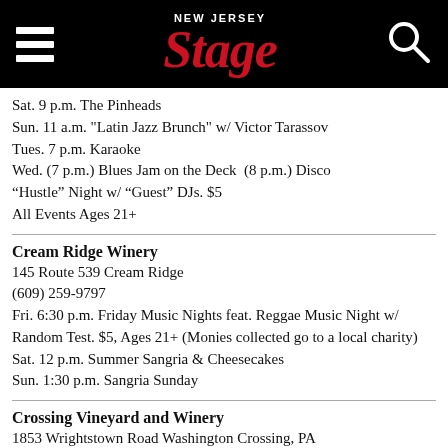[Figure (logo): New Jersey Stage website header with hamburger menu, red italic Stage logo, and search icon on black background]
Sat. 9 p.m. The Pinheads
Sun. 11 a.m. "Latin Jazz Brunch" w/ Victor Tarassov
Tues. 7 p.m. Karaoke
Wed. (7 p.m.) Blues Jam on the Deck  (8 p.m.) Disco “Hustle” Night w/ “Guest” DJs. $5
All Events Ages 21+
Cream Ridge Winery
145 Route 539 Cream Ridge
(609) 259-9797
Fri. 6:30 p.m. Friday Music Nights feat. Reggae Music Night w/ Random Test. $5, Ages 21+ (Monies collected go to a local charity)
Sat. 12 p.m. Summer Sangria & Cheesecakes
Sun. 1:30 p.m. Sangria Sunday
Crossing Vineyard and Winery
1853 Wrightstown Road Washington Crossing, PA
(215) 493-6500